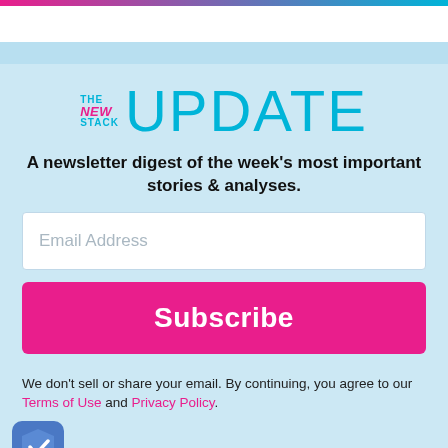[Figure (logo): The New Stack UPDATE newsletter logo with pink and cyan branding]
A newsletter digest of the week's most important stories & analyses.
Email Address
Subscribe
We don't sell or share your email. By continuing, you agree to our Terms of Use and Privacy Policy.